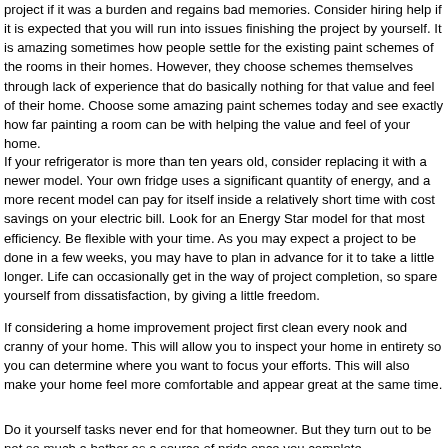project if it was a burden and regains bad memories. Consider hiring help if it is expected that you will run into issues finishing the project by yourself. It is amazing sometimes how people settle for the existing paint schemes of the rooms in their homes. However, they choose schemes themselves through lack of experience that do basically nothing for that value and feel of their home. Choose some amazing paint schemes today and see exactly how far painting a room can be with helping the value and feel of your home.
If your refrigerator is more than ten years old, consider replacing it with a newer model. Your own fridge uses a significant quantity of energy, and a more recent model can pay for itself inside a relatively short time with cost savings on your electric bill. Look for an Energy Star model for that most efficiency. Be flexible with your time. As you may expect a project to be done in a few weeks, you may have to plan in advance for it to take a little longer. Life can occasionally get in the way of project completion, so spare yourself from dissatisfaction, by giving a little freedom.
If considering a home improvement project first clean every nook and cranny of your home. This will allow you to inspect your home in entirety so you can determine where you want to focus your efforts. This will also make your home feel more comfortable and appear great at the same time.
Do it yourself tasks never end for that homeowner. But they turn out to be not so much a bother as a source of pride once you complete